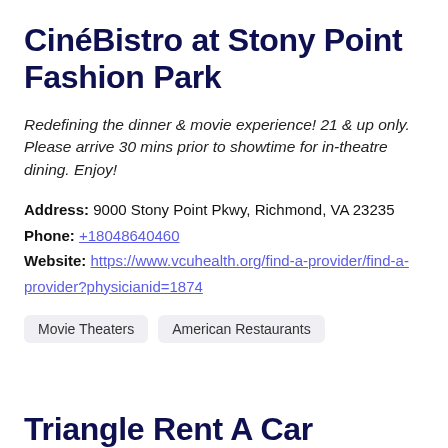CinéBistro at Stony Point Fashion Park
Redefining the dinner & movie experience! 21 & up only. Please arrive 30 mins prior to showtime for in-theatre dining. Enjoy!
Address: 9000 Stony Point Pkwy, Richmond, VA 23235
Phone: +18048640460
Website: https://www.vcuhealth.org/find-a-provider/find-a-provider?physicianid=1874
Movie Theaters
American Restaurants
Triangle Rent A Car